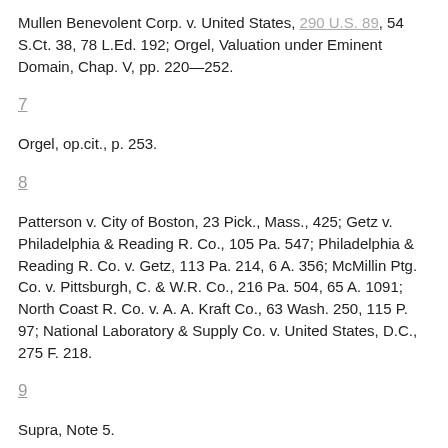Mullen Benevolent Corp. v. United States, 290 U.S. 89, 54 S.Ct. 38, 78 L.Ed. 192; Orgel, Valuation under Eminent Domain, Chap. V, pp. 220—252.
7
Orgel, op.cit., p. 253.
8
Patterson v. City of Boston, 23 Pick., Mass., 425; Getz v. Philadelphia & Reading R. Co., 105 Pa. 547; Philadelphia & Reading R. Co. v. Getz, 113 Pa. 214, 6 A. 356; McMillin Ptg. Co. v. Pittsburgh, C. & W.R. Co., 216 Pa. 504, 65 A. 1091; North Coast R. Co. v. A. A. Kraft Co., 63 Wash. 250, 115 P. 97; National Laboratory & Supply Co. v. United States, D.C., 275 F. 218.
9
Supra, Note 5.
10